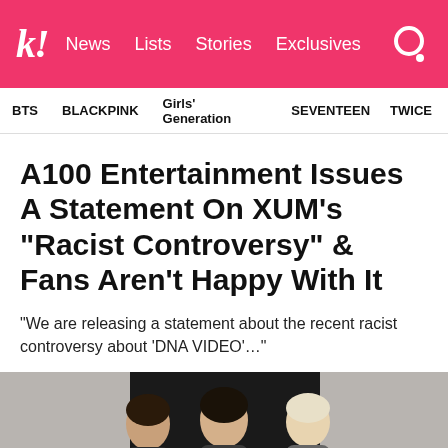k! News Lists Stories Exclusives
BTS   BLACKPINK   Girls' Generation   SEVENTEEN   TWICE
A100 Entertainment Issues A Statement On XUM's “Racist Controversy” & Fans Aren’t Happy With It
“We are releasing a statement about the recent racist controversy about ‘DNA VIDEO’…”
[Figure (photo): Photo of group members, appears to show several young women, lower portion of image visible]